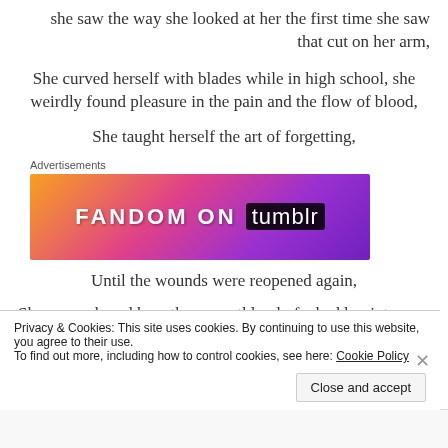she saw the way she looked at her the first time she saw that cut on her arm,
She curved herself with blades while in high school, she weirdly found pleasure in the pain and the flow of blood,
She taught herself the art of forgetting,
Advertisements
[Figure (other): FANDOM ON tumblr advertisement banner with colorful gradient background]
Until the wounds were reopened again,
She remembered how they so ruthlessly fucked her into
Privacy & Cookies: This site uses cookies. By continuing to use this website, you agree to their use.
To find out more, including how to control cookies, see here: Cookie Policy
Close and accept